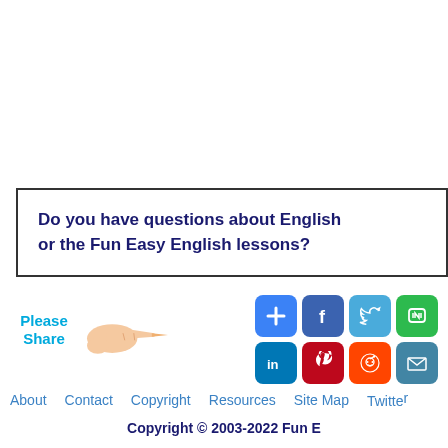Do you have questions about English or the Fun Easy English lessons?
[Figure (illustration): Hand pointer finger pointing right, with 'Please Share' text and social media sharing buttons: Add, Facebook, Twitter, LINE, LinkedIn, Pinterest, Reddit, Email]
About   Contact   Copyright   Resources   Site Map   Twitter
Copyright © 2003-2022 Fun E...